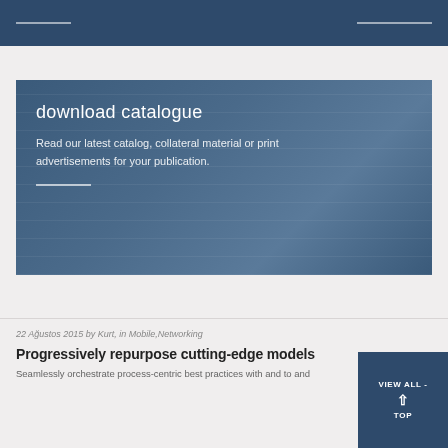download catalogue
Read our latest catalog, collateral material or print advertisements for your publication.
22 Ağustos 2015 by Kurt, in Mobile,Networking
Progressively repurpose cutting-edge models
Seamlessly orchestrate process-centric best practices with and to and
VIEW ALL - TOP